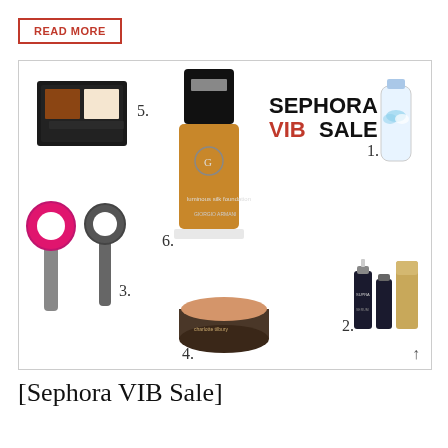READ MORE
[Figure (photo): Sephora VIB Sale collage showing 6 beauty products: 1. spray bottle, 2. skincare set, 3. Dyson hair dryers (pink/purple), 4. Charlotte Tilbury pot, 5. contour palette, 6. Giorgio Armani foundation. Text reads 'SEPHORA VIBSALE'.]
[Sephora VIB Sale]